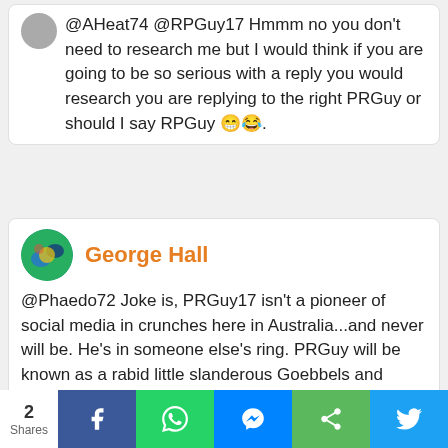@AHeat74 @RPGuy17 Hmmm no you don't need to research me but I would think if you are going to be so serious with a reply you would research you are replying to the right PRGuy or should I say RPGuy 😁😂.
George Hall
@Phaedo72 Joke is, PRGuy17 isn't a pioneer of social media in crunches here in Australia...and never will be. He's in someone else's ring. PRGuy will be known as a rabid little slanderous Goebbels and
2 Shares